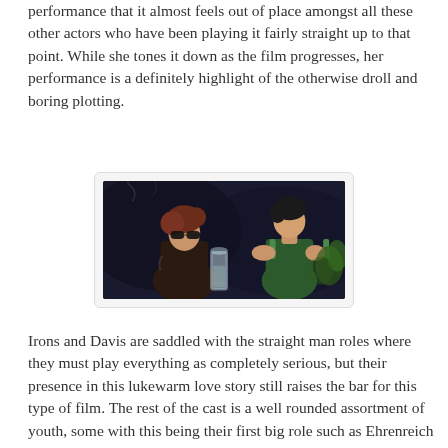performance that it almost feels out of place amongst all these other actors who have been playing it fairly straight up to that point. While she tones it down as the film progresses, her performance is a definitely highlight of the otherwise droll and boring plotting.
[Figure (photo): A dark film still showing two people: a woman with red hair wearing large sunglasses and a patterned outfit on the left, and a young man in a green tank top on the right, with a glass pitcher visible between them.]
Irons and Davis are saddled with the straight man roles where they must play everything as completely serious, but their presence in this lukewarm love story still raises the bar for this type of film. The rest of the cast is a well rounded assortment of youth, some with this being their first big role such as Ehrenreich and Englert and others a little more experienced such as Emmy Rossum. Rossum also gets free reign to camp it up as much as possible playing Lena's evil cousin Ridley. Just about the only negative thing that can